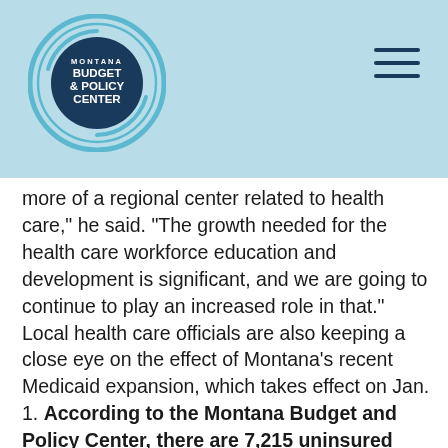Montana Budget & Policy Center
more of a regional center related to health care," he said. "The growth needed for the health care workforce education and development is significant, and we are going to continue to play an increased role in that." Local health care officials are also keeping a close eye on the effect of Montana's recent Medicaid expansion, which takes effect on Jan. 1. According to the Montana Budget and Policy Center, there are 7,215 uninsured adults in Yellowstone County eligible for the expansion, which could result in an additional $44.5 million in Medicaid spending, an anticipated job increase of 1,370 and and possible annual labor increase of $57 million. "As newly insured Montanans seek health care, there will be an